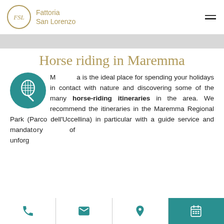Fattoria San Lorenzo
Horse riding in Maremma
Maremma is the ideal place for spending your holidays in contact with nature and discovering some of the many horse-riding itineraries in the area. We recommend the itineraries in the Maremma Regional Park (Parco dell'Uccellina) in particular with a guide service and manda... unforg...